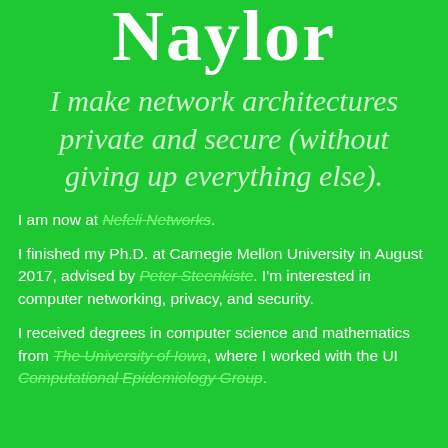Naylor
I make network architectures private and secure (without giving up everything else).
I am now at Nefeli Networks.
I finished my Ph.D. at Carnegie Mellon University in August 2017, advised by Peter Steenkiste. I'm interested in computer networking, privacy, and security.
I received degrees in computer science and mathematics from The University of Iowa, where I worked with the UI Computational Epidemiology Group.